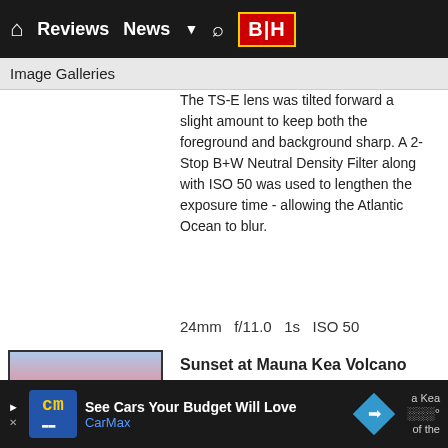Reviews  News  [B|H]
Image Galleries
The TS-E lens was tilted forward a slight amount to keep both the foreground and background sharp. A 2-Stop B+W Neutral Density Filter along with ISO 50 was used to lengthen the exposure time - allowing the Atlantic Ocean to blur.
24mm  f/11.0  1s  ISO 50
[Figure (photo): Thumbnail photo of sunset at Mauna Kea Volcano showing snow-covered landscape with pink/orange sky]
Sunset at Mauna Kea Volcano
While Hawaii is not as well known for its snow as it is for its beaches and resorts, it is indeed a land of fire and ice. The
See Cars Your Budget Will Love  CarMax  [ad]